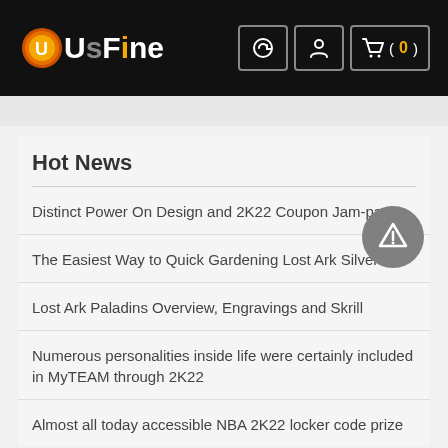UsFine - header with logo and icons
Hot News
Distinct Power On Design and 2K22 Coupon Jam-pack
The Easiest Way to Quick Gardening Lost Ark Silver?
Lost Ark Paladins Overview, Engravings and Skrill
Numerous personalities inside life were certainly included in MyTEAM through 2K22
Almost all today accessible NBA 2K22 locker code prize